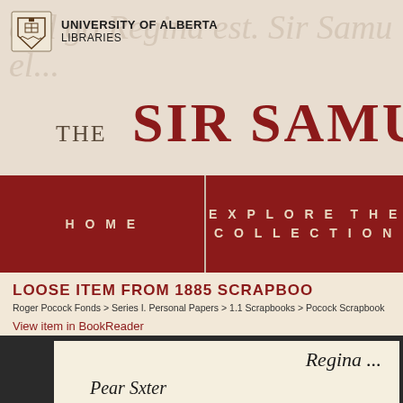[Figure (logo): University of Alberta Libraries logo with shield emblem]
THE SIR SAMUEL St
HOME
EXPLORE THE COLLECTION
LOOSE ITEM FROM 1885 SCRAPBOO
Roger Pocock Fonds > Series I. Personal Papers > 1.1 Scrapbooks > Pocock Scrapbook
View item in BookReader
[Figure (photo): Scanned historical document showing handwritten text with 'Regina' visible at top right and cursive writing below]